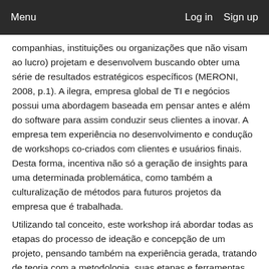Menu    Log in    Sign up
companhias, instituições ou organizações que não visam ao lucro) projetam e desenvolvem buscando obter uma série de resultados estratégicos específicos (MERONI, 2008, p.1). A ilegra, empresa global de TI e negócios possui uma abordagem baseada em pensar antes e além do software para assim conduzir seus clientes a inovar. A empresa tem experiência no desenvolvimento e condução de workshops co-criados com clientes e usuários finais. Desta forma, incentiva não só a geração de insights para uma determinada problemática, como também a culturalização de métodos para futuros projetos da empresa que é trabalhada.
Utilizando tal conceito, este workshop irá abordar todas as etapas do processo de ideação e concepção de um projeto, pensando também na experiência gerada, tratando de teoria com a metodologia, suas etapas e ferramentas, além da prática que envolve a prototipagem e os testes, fases desenvolvidas com o grupo presente no workshop, que será